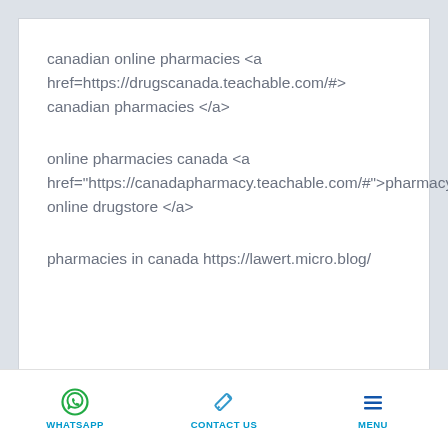canadian online pharmacies <a href=https://drugscanada.teachable.com/#> canadian pharmacies </a>
online pharmacies canada <a href="https://canadapharmacy.teachable.com/#">pharmacy online drugstore </a>
pharmacies in canada https://lawert.micro.blog/
WHATSAPP   CONTACT US   MENU